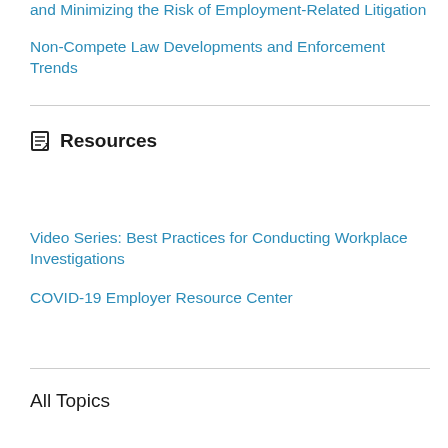and Minimizing the Risk of Employment-Related Litigation
Non-Compete Law Developments and Enforcement Trends
Resources
Video Series: Best Practices for Conducting Workplace Investigations
COVID-19 Employer Resource Center
All Topics